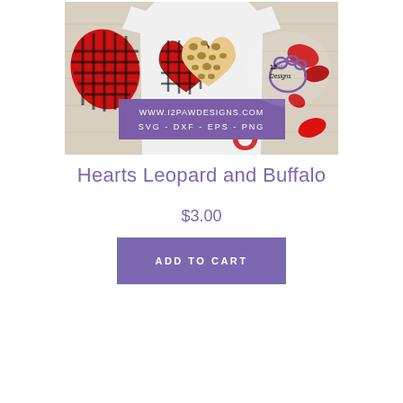[Figure (photo): Product image showing a white onesie/shirt with two hearts in leopard print and buffalo plaid (red/black check) patterns, alongside some Valentine's related items on a wooden surface. A purple banner reads 'WWW.I2PAWDESIGNS.COM SVG - DXF - EPS - PNG' and a logo of '12Paw Designs' with a paw print is visible.]
Hearts Leopard and Buffalo
$3.00
ADD TO CART